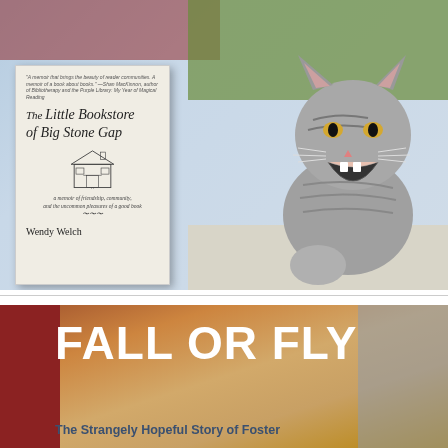[Figure (photo): A tabby kitten yawning/meowing next to a copy of 'The Little Bookstore of Big Stone Gap' by Wendy Welch, sitting on a windowsill with greenery visible in the background.]
[Figure (photo): A close-up of a book cover titled 'FALL OR FLY: The Strangely Hopeful Story of Foster' against a warm brown/orange background, with red on the left edge and a blurred figure on the right.]